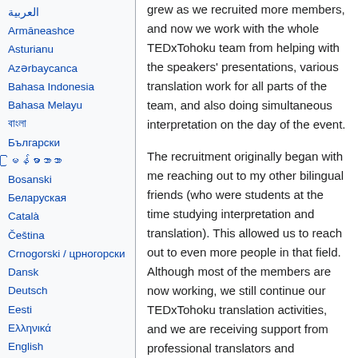العربية
Armāneashce
Asturianu
Azərbaycanca
Bahasa Indonesia
Bahasa Melayu
বাংলা
Български
မြန်မာဘာသာ
Bosanski
Беларуская
Català
Čeština
Crnogorski / црногорски
Dansk
Deutsch
Eesti
Ελληνικά
English
Español
Esperanto
Euskara
فارسی
grew as we recruited more members, and now we work with the whole TEDxTohoku team from helping with the speakers' presentations, various translation work for all parts of the team, and also doing simultaneous interpretation on the day of the event.
The recruitment originally began with me reaching out to my other bilingual friends (who were students at the time studying interpretation and translation). This allowed us to reach out to even more people in that field. Although most of the members are now working, we still continue our TEDxTohoku translation activities, and we are receiving support from professional translators and interpreters as well.
It's a pleasant surprise to see that most of the members decide to stay with us